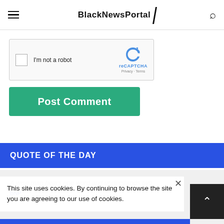BlackNewsPortal
[Figure (screenshot): reCAPTCHA widget with checkbox labeled 'I'm not a robot']
Post Comment
QUOTE OF THE DAY
A wise man hears one word and understands two.
BNP
This site uses cookies. By continuing to browse the site you are agreeing to our use of cookies.